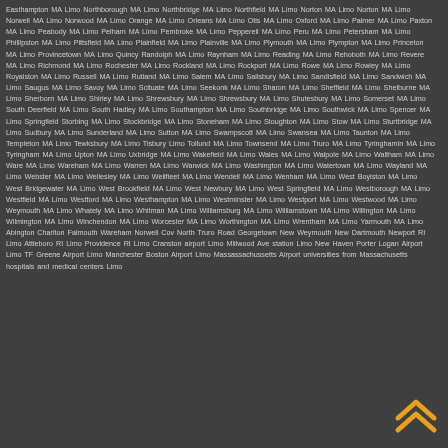Easthampton MA Limo Northborough MA Limo Northbridge MA Limo Northfield MA Limo Norton MA Limo Norton MA Limo Norwell MA Limo Norwood MA Limo Orange MA Limo Orleans MA Limo Otis MA Limo Oxford MA Limo Palmer MA Limo Paxton MA Limo Peabody MA Limo Pelham MA Limo Pembroke MA Limo Pepperell MA Limo Peru MA Limo Petersham MA Limo Phillipston MA Limo Pittsfield MA Limo Plainfield MA Limo Plainville MA Limo Plymouth MA Limo Plympton MA Limo Princeton MA Limo Provincetown MA Limo Quincy Randolph MA Limo Raynham MA Limo Reading MA Limo Rehoboth MA Limo Revere MA Limo Richmond MA Limo Rochester MA Limo Rockland MA Limo Rockport MA Limo Rowe MA Limo Rowley MA Limo Royalston MA Limo Russell MA Limo Rutland MA Limo Salem MA Limo Salisbury MA Limo Sandisfield MA Limo Sandwich MA Limo Saugus MA Limo Savoy MA Limo Scituate MA Limo Seekonk MA Limo Sharon MA Limo Sheffield MA Limo Shelburne MA Limo Sherborn MA Limo Shirley MA Limo Shrewsbury MA Limo Shrewsbury MA Limo Shutesbury MA Limo Somerset MA Limo South Deerfield MA Limo South Hadley MA Limo Southampton MA Limo Southbridge MA Limo Southwick MA Limo Spencer MA Limo Springfield Storbing MA Limo Stockbridge MA Limo Stoneham MA Limo Stoughton MA Limo Stow MA Limo Sturtbridge MA Limo Sudbury MA Limo Sunderland MA Limo Sutton MA Limo Swampscott MA Limo Swansea MA Limo Taunton MA Limo Templeton MA Limo Tewksbury MA Limo Tisbury Limo Tollund MA Limo Townsend MA Limo Truro MA Limo Tyringhamin MA Limo Tyringham MA Limo Upton MA Limo Uxbridge MA Limo Wakefield MA Limo Wales MA Limo Walpole MA Limo Waltham MA Limo Ware MA Limo Wareham MA Limo Warren MA Limo Warwick MA Limo Washington MA Limo Watertown MA Limo Wayland MA Limo Webster MA Limo Wellesley MA Limo Wellfleet MA Limo Wendell MA Limo Wenham MA Limo West Boylston MA Limo West Bridgewater MA Limo West Brookfield MA Limo West Newbury MA Limo West Springfield MA Limo Westborough MA Limo Westfield MA Limo Westford MA Limo Westhampton MA Limo Westminster MA Limo Westport MA Limo Westwood MA Limo Weymouth MA Limo Whately MA Limo Whitman MA Limo Williamsburg MA Limo Williamstown MA Limo Willington MA Limo Wilmington MA Limo Winchendon MA Limo Worcester MA Limo Worthington MA Limo Wrentham MA Limo Yarmouth MA Limo Abington Charlton Falmouth Wareham Norwell Cov North Truro Road Georgetown New Weymouth New Dartmouth Newport RI Limo Attleboro RI Limo Providence RI Limo Cranston airport Limo Millwood Ave station Limo New Haven Porter Logan Airport Limo TF Greene Airport Limo Manchester Boston Airport Limo Massassachussetts Airport universities from Massachusetts hospitals and medical centers Limo
[Figure (logo): Double upward chevron arrow logo in orange/gold color on dark background, bottom right corner]